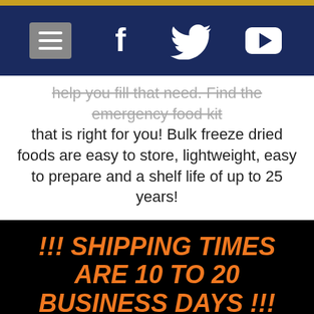Navigation bar with menu, Facebook, Twitter, YouTube icons
help you fill that need. Find the emergency food kit that is right for you! Bulk freeze dried foods are easy to store, lightweight, easy to prepare and a shelf life of up to 25 years!
!!! SHIPPING TIMES ARE 10 TO 20 BUSINESS DAYS !!!
Legacy Foods has increased prices of survival foods due to high demand for supplies. We have implemented free shipping on all orders in an effort to offset the burden and we offer discount pricing on all emergency foods storage kits.